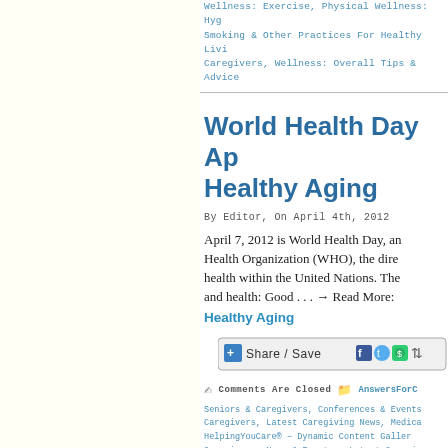Wellness: Exercise, Physical Wellness: Hygiene, Smoking & Other Practices For Healthy Living, Caregivers, Wellness: Overall Tips & Advice
World Health Day Ap... Healthy Aging
By Editor, On April 4th, 2012
April 7, 2012 is World Health Day, an... Health Organization (WHO), the dire... health within the United Nations. The... and health: Good . . . → Read More:
Healthy Aging
[Figure (other): Share/Save social sharing button bar with Facebook, Twitter, and other icons]
Comments Are Closed  AnswersForC... Seniors & Caregivers, Conferences & Events, Caregivers, Latest Caregiving News, Medica... HelpingYouCare® – Dynamic Content Galler... Caregivers, News & Events – Latest Caregivn... Physical Wellness: Exercise, Physical Welln... Living, Wellness/ Healthy Living For Senior...